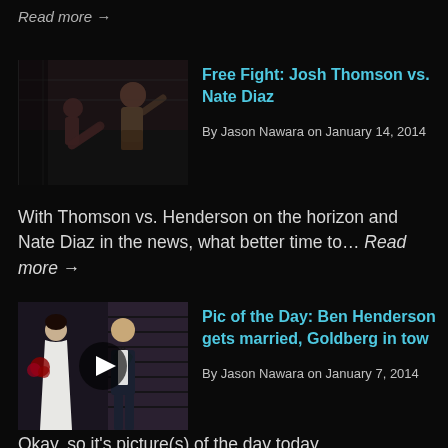Read more →
Free Fight: Josh Thomson vs. Nate Diaz
By Jason Nawara on January 14, 2014
[Figure (photo): Two MMA fighters in action, one throwing a punch or kick at the other in a cage fight]
With Thomson vs. Henderson on the horizon and Nate Diaz in the news, what better time to... Read more →
[Figure (photo): A couple in wedding attire, woman in white dress holding flowers, man in dark suit with bow tie, with a video play button overlay]
Pic of the Day: Ben Henderson gets married, Goldberg in tow
By Jason Nawara on January 7, 2014
Okay, so it's picture(s) of the day today,